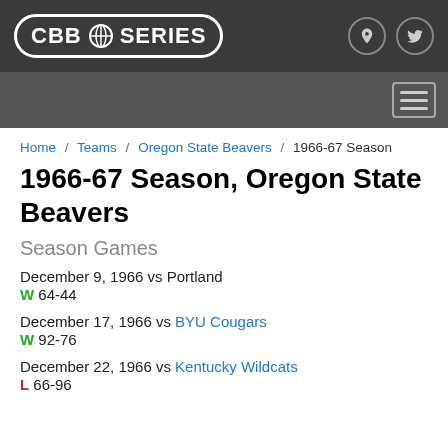CBB SERIES
Home / Teams / Oregon State Beavers / 1966-67 Season
1966-67 Season, Oregon State Beavers
Season Games
December 9, 1966 vs Portland
W 64-44
December 17, 1966 vs BYU Cougars
W 92-76
December 22, 1966 vs Kentucky Wildcats
L 66-96